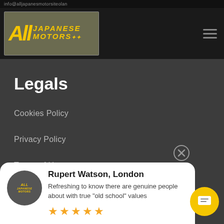[Figure (logo): All Japanese Motors logo in yellow italic text on dark/olive background]
Legals
Cookies Policy
Privacy Policy
Terms of Use
[Figure (infographic): Customer review card showing All Japanese Motors logo, reviewer Rupert Watson from London with quote and 5 star rating]